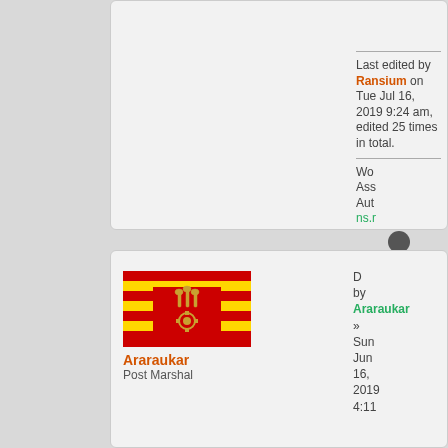Last edited by Ransium on Tue Jul 16, 2019 9:24 am, edited 25 times in total.
Wo Ass Aut ns.r
[Figure (illustration): Flag of Araraukar: red and yellow horizontal stripes with a central emblem of wheat stalks and gear]
Araraukar
Post Marshal
D by Araraukar » Sun Jun 16, 2019 4:11